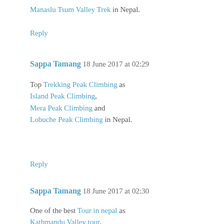Manaslu Tsum Valley Trek in Nepal.
Reply
Sappa Tamang  18 June 2017 at 02:29
Top Trekking Peak Climbing as Island Peak Climbing, Mera Peak Climbing and Lobuche Peak Climbing in Nepal.
Reply
Sappa Tamang  18 June 2017 at 02:30
One of the best Tour in nepal as Kathmandu Valley tour, Kathmandu Nagarkot tour and chitwan Jungle Safari in Nepal.
Reply